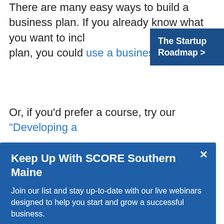There are many easy ways to build a business plan. If you already know what you want to include in your plan, you could use a business plan tem…
[Figure (infographic): Blue sidebar banner reading 'The Startup Roadmap >']
Or, if you'd prefer a course, try our "Developing a
[Figure (screenshot): Blue modal popup: 'Keep Up With SCORE Southern Maine' with subtitle 'Join our list and stay up-to-date with our live webinars designed to help you start and grow a successful business.' and an email input field with a SUBMIT button. Close X button in top right.]
…y.
Company (LLC), or as another structure (like an S Corporation).
Once you've registered as a business, educate